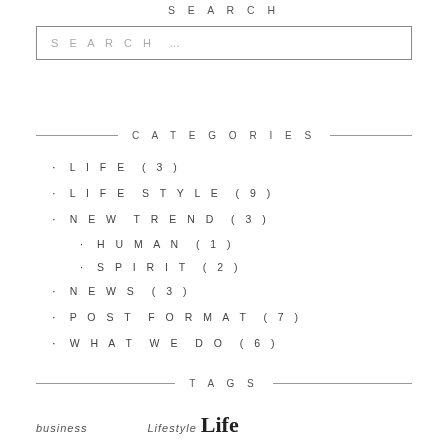SEARCH
SEARCH …
CATEGORIES
LIFE (3)
LIFE STYLE (9)
NEW TREND (3)
HUMAN (1)
SPIRIT (2)
NEWS (3)
POST FORMAT (7)
WHAT WE DO (6)
TAGS
business  Lifestyle Life